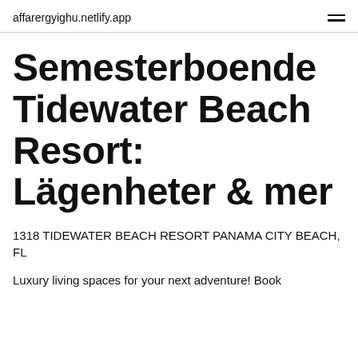affarergyighu.netlify.app
Semesterboende Tidewater Beach Resort: Lägenheter & mer
1318 TIDEWATER BEACH RESORT PANAMA CITY BEACH, FL
Luxury living spaces for your next adventure! Book